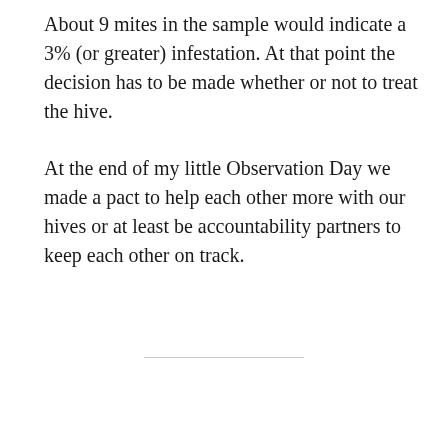About 9 mites in the sample would indicate a 3% (or greater) infestation. At that point the decision has to be made whether or not to treat the hive.
At the end of my little Observation Day we made a pact to help each other more with our hives or at least be accountability partners to keep each other on track.